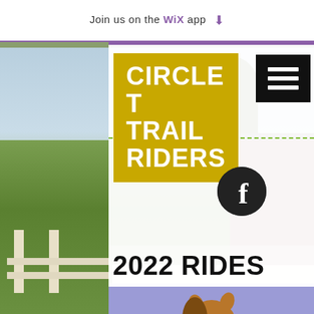Join us on the WiX app
[Figure (logo): Circle T Trail Riders logo — bold white text on gold/yellow square background]
[Figure (illustration): Cartoon horse holding a blank white sign]
2022 RIDES
RIDE TIOGA COUNTY
NEAR PA GRAND CANYON
August 7th - 13th, 2022
Sponsored by Katherine Mack and Diane Zuck